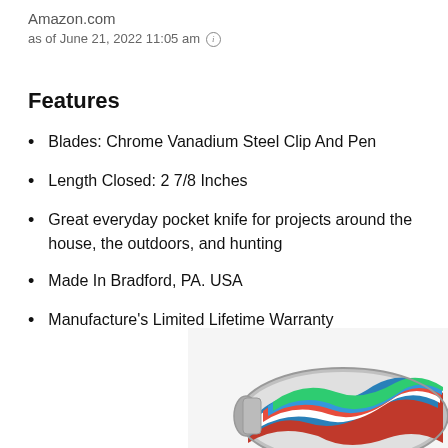Amazon.com
as of June 21, 2022 11:05 am ⓘ
Features
Blades: Chrome Vanadium Steel Clip And Pen
Length Closed: 2 7/8 Inches
Great everyday pocket knife for projects around the house, the outdoors, and hunting
Made In Bradford, PA. USA
Manufacture's Limited Lifetime Warranty
[Figure (photo): Partial view of a colorful multi-colored pocket knife with a swirling pattern handle at the bottom right of the page]